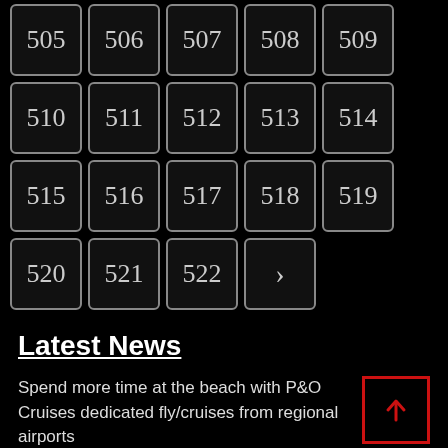[Figure (other): Pagination grid showing page numbers 505-522 and a next arrow button, styled as dark buttons with rounded borders on black background]
Latest News
Spend more time at the beach with P&O Cruises dedicated fly/cruises from regional airports
East of England business confidence falls in August
Business travel important for raising